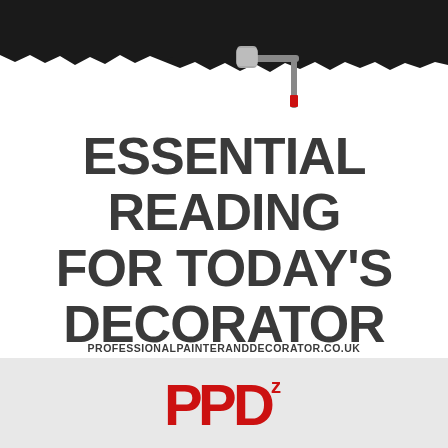[Figure (illustration): Paint roller at top of page with black paint stripe across, roller handle in gray/chrome with red accent, rolling black paint]
ESSENTIAL READING FOR TODAY'S DECORATOR
PROFESSIONALPAINTERANDDECORATOR.CO.UK
[Figure (logo): PPD logo letters in red with a small z superscript, on gray background bar at bottom of page]